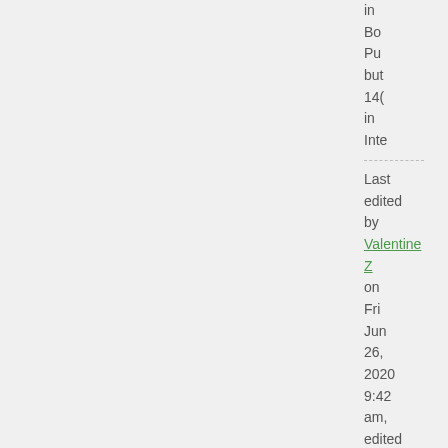in Bo Pu but 140 in Inte
Last edited by Valentine Z on Fri Jun 26, 2020 9:42 am, edited 2 times in total.
Val' Stu ♡ ∧∧